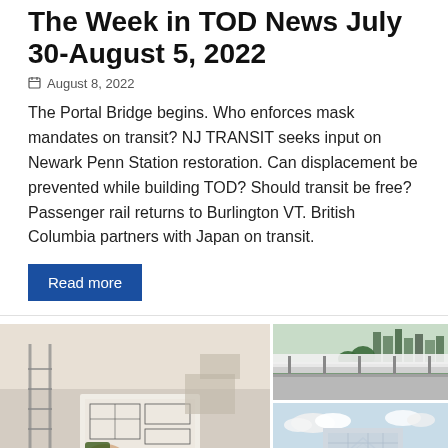The Week in TOD News July 30-August 5, 2022
August 8, 2022
The Portal Bridge begins. Who enforces mask mandates on transit? NJ TRANSIT seeks input on Newark Penn Station restoration. Can displacement be prevented while building TOD? Should transit be free? Passenger rail returns to Burlington VT. British Columbia partners with Japan on transit.
Read more
[Figure (photo): Person holding architectural floor plan blueprints in a construction setting]
[Figure (photo): Aerial view of a transit rail station with city skyline in the background]
[Figure (photo): Modern glass building exterior with blue sky and clouds]